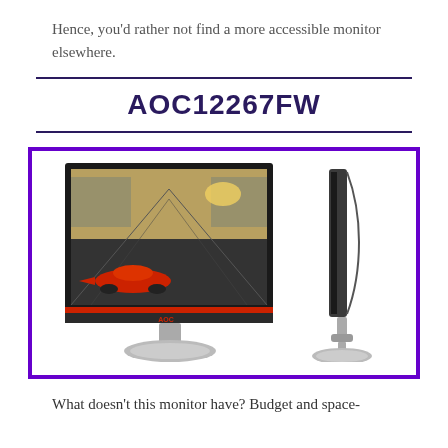Hence, you'd rather not find a more accessible monitor elsewhere.
AOC12267FW
[Figure (photo): Product photo of AOC12267FW monitor showing front view with racing car on screen, and side profile view of the monitor on a stand, both displayed inside a purple-bordered box.]
What doesn't this monitor have? Budget and space-